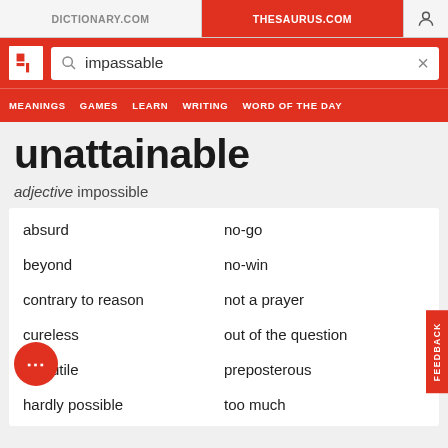DICTIONARY.COM | THESAURUS.COM
[Figure (screenshot): Thesaurus.com website header with logo, search bar showing 'impassable', and navigation menu with MEANINGS, GAMES, LEARN, WRITING, WORD OF THE DAY]
unattainable
adjective impossible
absurd
no-go
beyond
no-win
contrary to reason
not a prayer
cureless
out of the question
futile
preposterous
hardly possible
too much